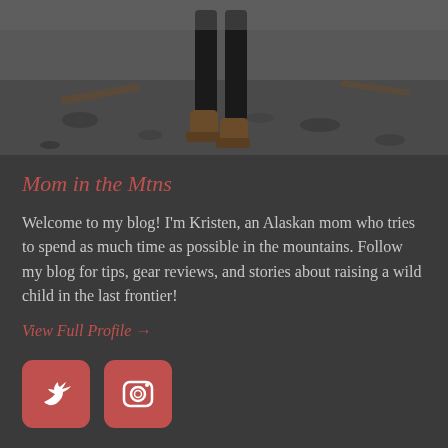[Figure (photo): Partial photo showing the lower body of a person standing on a rocky/pebbly beach or shoreline, wearing dark pants and brown hiking boots. Background shows rocks and driftwood.]
Mom in the Mtns
Welcome to my blog! I'm Kristen, an Alaskan mom who tries to spend as much time as possible in the mountains. Follow my blog for tips, gear reviews, and stories about raising a wild child in the last frontier!
View Full Profile →
[Figure (illustration): Two social media icon buttons: a red/coral Twitter bird icon button and a red/coral Instagram camera icon button, both with rounded corners.]
Follow My Blog